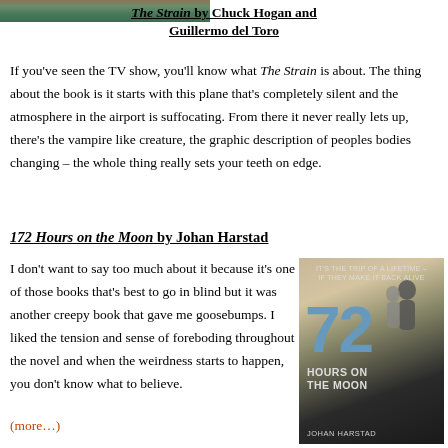[Figure (photo): Top partial image of what appears to be a book cover or scene, cropped at top of page]
The Strain by Chuck Hogan and Guillermo del Toro
If you've seen the TV show, you'll know what The Strain is about. The thing about the book is it starts with this plane that's completely silent and the atmosphere in the airport is suffocating. From there it never really lets up, there's the vampire like creature, the graphic description of peoples bodies changing – the whole thing really sets your teeth on edge.
172 Hours on the Moon by Johan Harstad
I don't want to say too much about it because it's one of those books that's best to go in blind but it was another creepy book that gave me goosebumps. I liked the tension and sense of foreboding throughout the novel and when the weirdness starts to happen, you don't know what to believe.
(more…)
[Figure (photo): Book cover of 172 Hours on the Moon by Johan Harstad, showing silhouettes and large numerals 172, with tagline IT'S THE TRIP OF A LIFETIME – IF THEY MAKE IT BACK ALIVE]